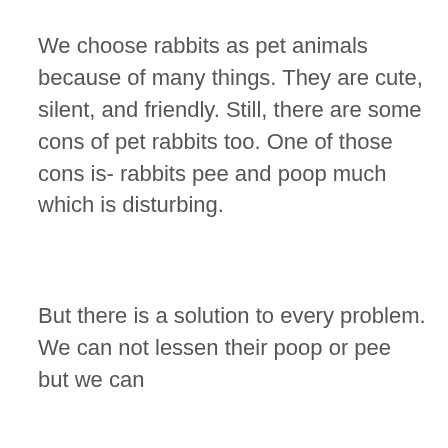We choose rabbits as pet animals because of many things. They are cute, silent, and friendly. Still, there are some cons of pet rabbits too. One of those cons is- rabbits pee and poop much which is disturbing.
But there is a solution to every problem. We can not lessen their poop or pee but we can